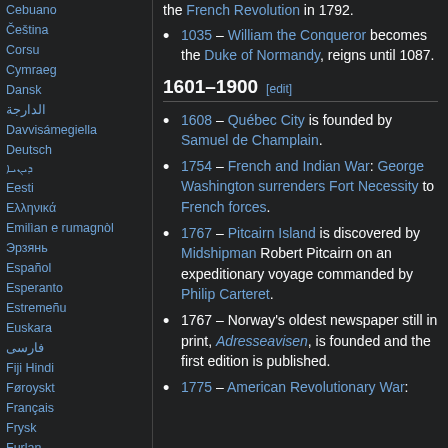Cebuano
Čeština
Corsu
Cymraeg
Dansk
الدارجة
Davvisámegiella
Deutsch
ܕܝܢܝܐ
Eesti
Ελληνικά
Emilìan e rumagnòl
Эрзянь
Español
Esperanto
Estremeñu
Euskara
فارسی
Fiji Hindi
Føroyskt
Français
Frysk
Furlan
the French Revolution in 1792.
1035 – William the Conqueror becomes the Duke of Normandy, reigns until 1087.
1601–1900 [edit]
1608 – Québec City is founded by Samuel de Champlain.
1754 – French and Indian War: George Washington surrenders Fort Necessity to French forces.
1767 – Pitcairn Island is discovered by Midshipman Robert Pitcairn on an expeditionary voyage commanded by Philip Carteret.
1767 – Norway's oldest newspaper still in print, Adresseavisen, is founded and the first edition is published.
1775 – American Revolutionary War: